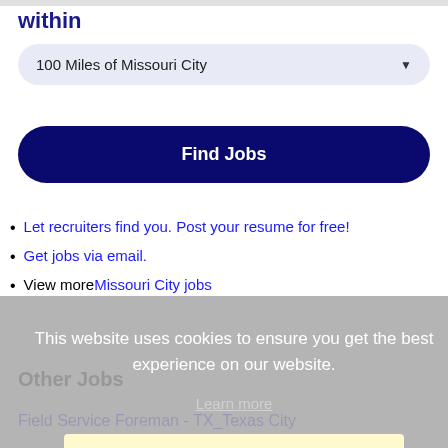within
100 Miles of Missouri City
Find Jobs
Let recruiters find you. Post your resume for free!
Get jobs via email.
View more Missouri City jobs
This website uses cookies to ensure you get the best experience on our website.
Learn more
Got it!
Other Jobs
Field Service Foreman - TX_Texas City